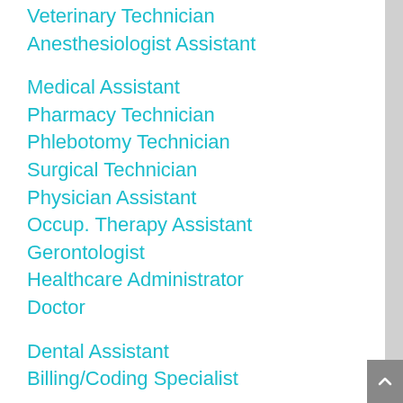Veterinary Technician
Anesthesiologist Assistant
Medical Assistant
Pharmacy Technician
Phlebotomy Technician
Surgical Technician
Physician Assistant
Occup. Therapy Assistant
Gerontologist
Healthcare Administrator
Doctor
Dental Assistant
Billing/Coding Specialist